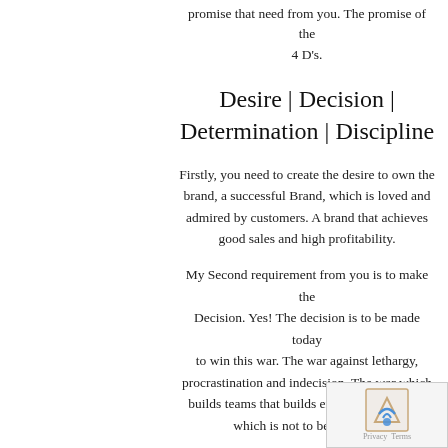promise that need from you. The promise of the 4 D's.
Desire | Decision | Determination | Discipline
Firstly, you need to create the desire to own the brand, a successful Brand, which is loved and admired by customers. A brand that achieves good sales and high profitability.
My Second requirement from you is to make the Decision. Yes! The decision is to be made today to win this war. The war against lethargy, procrastination and indecision. The war which builds teams that builds empires. A decision which is not to be changed.
My Third requirement is Determination. The